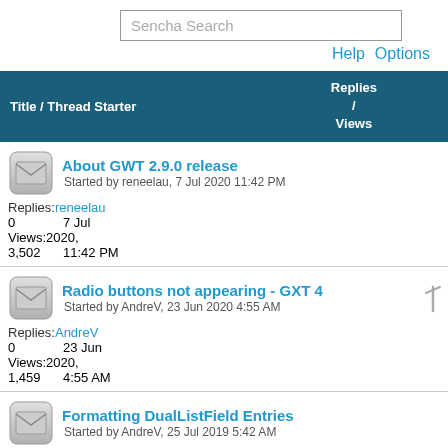Sencha Search
Help  Options
| Title / Thread Starter | Replies / Views | Last Post By |
| --- | --- | --- |
| About GWT 2.9.0 release
Started by reneelau, 7 Jul 2020 11:42 PM | 0
3,502 | reneelau
7 Jul
2020,
11:42 PM |
| Radio buttons not appearing - GXT 4
Started by AndreV, 23 Jun 2020 4:55 AM | 0
1,459 | AndreV
23 Jun
2020,
4:55 AM |
| Formatting DualListField Entries
Started by AndreV, 25 Jul 2019 5:42 AM |  |  |